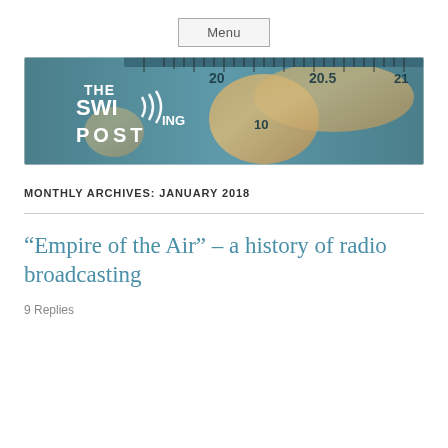Menu
[Figure (illustration): The Swinging Post banner image showing a vintage radio dial with a world map background. Text reads THE SWIng POST in white letters on the left side.]
MONTHLY ARCHIVES: JANUARY 2018
“Empire of the Air” – a history of radio broadcasting
9 Replies